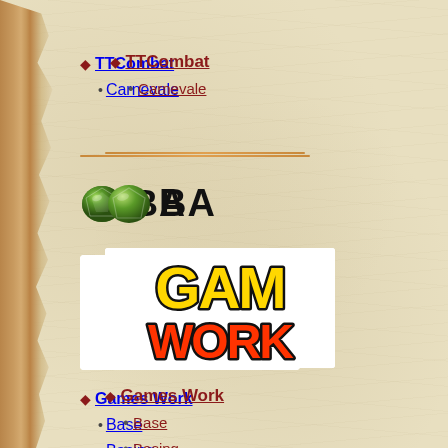TTCombat
• Carnevale
[Figure (logo): Games Workshop logo with yellow and red stylized text on black outline]
Games Workshop
• Base
• Basing
Alien Lab
• Bases & Basing
• Miniatures
• Coversion Parts
• Terrain